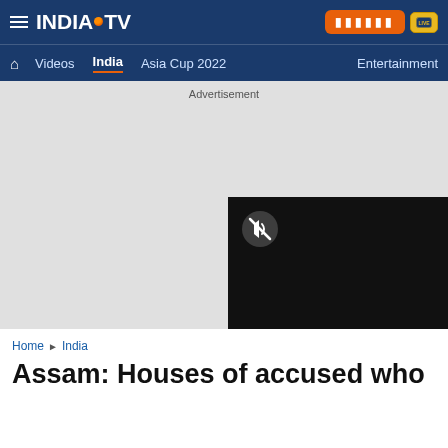INDIA TV — top navigation bar with hamburger menu, logo, Hindi button, LIVE button
Videos | India | Asia Cup 2022 | Entertainment — navigation menu
Advertisement
[Figure (screenshot): Grey advertisement placeholder area with a video player in the bottom-right corner showing a black screen with a muted/speaker-off icon]
Home ▶ India
Assam: Houses of accused who